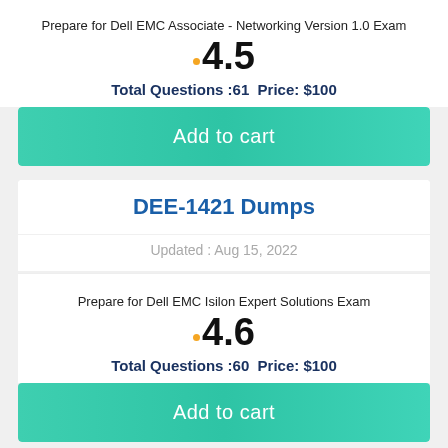Prepare for Dell EMC Associate - Networking Version 1.0 Exam
4.5
Total Questions :61  Price: $100
Add to cart
DEE-1421 Dumps
Updated : Aug 15, 2022
Prepare for Dell EMC Isilon Expert Solutions Exam
4.6
Total Questions :60  Price: $100
Add to cart
DEP-3CR1 Dumps
Updated : Aug 15, 2022